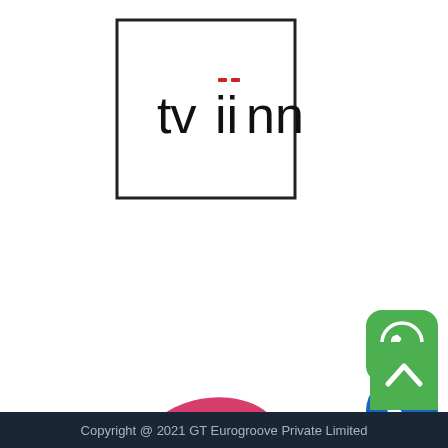[Figure (logo): tviinn logo: black square outline with text 'tviinn' inside, the two i's topped with a red double-bar accent]
[Figure (logo): REHAU Quality Authorised Partner logo: pink blob shape with white text 'REHAU QUALITY' and grey text 'AUTHORISED PARTNER' to the right]
[Figure (logo): WhatsApp icon: green rounded square with white phone handset in speech bubble]
[Figure (logo): Phone call icon: blue circle with white phone handset]
[Figure (other): Green square button with upward caret/arrow symbol]
Copyright @ 2021 GT Eurogroove Private Limited